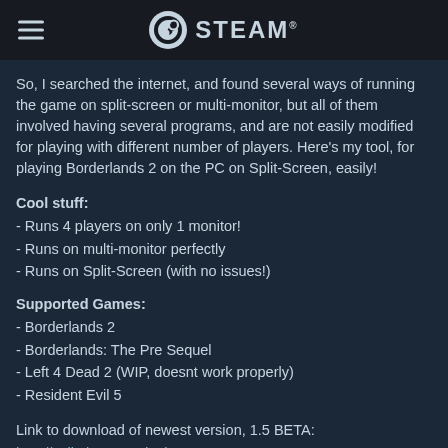STEAM
So, I searched the internet, and found several ways of running the game on split-screen or multi-monitor, but all of them involved having several programs, and are not easily modified for playing with different number of players. Here's my tool, for playing Borderlands 2 on the PC on Split-Screen, easily!
Cool stuff:
- Runs 4 players on only 1 monitor!
- Runs on multi-monitor perfectly
- Runs on Split-Screen (with no issues!)
Supported Games:
- Borderlands 2
- Borderlands: The Pre Sequel
- Left 4 Dead 2 (WIP, doesnt work properly)
- Resident Evil 5
Link to download of newest version, 1.5 BETA:
http://splitplayne.codeplex.com